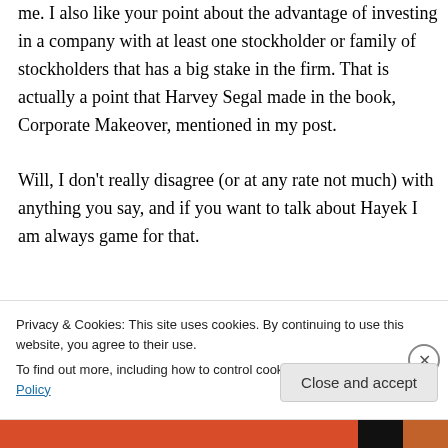me. I also like your point about the advantage of investing in a company with at least one stockholder or family of stockholders that has a big stake in the firm. That is actually a point that Harvey Segal made in the book, Corporate Makeover, mentioned in my post.

Will, I don't really disagree (or at any rate not much) with anything you say, and if you want to talk about Hayek I am always game for that.
★ Like
Privacy & Cookies: This site uses cookies. By continuing to use this website, you agree to their use.
To find out more, including how to control cookies, see here: Cookie Policy
Close and accept